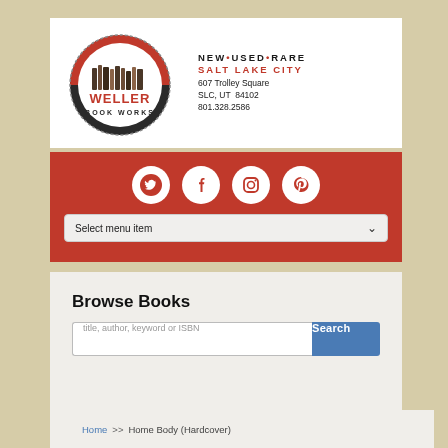[Figure (logo): Weller Book Works logo: circular emblem with red top, books illustration, EST. 1929, black ring with WELLER BOOK WORKS text]
NEW • USED • RARE
SALT LAKE CITY
607 Trolley Square
SLC, UT  84102
801.328.2586
[Figure (infographic): Red navigation bar with four white circle social media icons: Twitter bird, Facebook f, Instagram camera, Pinterest P]
Select menu item
Browse Books
title, author, keyword or ISBN
Search
Home >> Home Body (Hardcover)